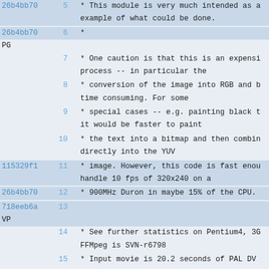26b4bb70  5    * This module is very much intended as a example of what could be done.
26b4bb70  6    *
PG
7    * One caution is that this is an expensive process -- in particular the
8    * conversion of the image into RGB and b time consuming. For some
9    * special cases -- e.g. painting black t it would be faster to paint
10   * the text into a bitmap and then combine directly into the YUV
115329f1  11   * image. However, this code is fast enough handle 10 fps of 320x240 on a
26b4bb70  12   * 900MHz Duron in maybe 15% of the CPU.
718eeb6a  13
VP
14   * See further statistics on Pentium4, 3G FFMpeg is SVN-r6798
15   * Input movie is 20.2 seconds of PAL DV